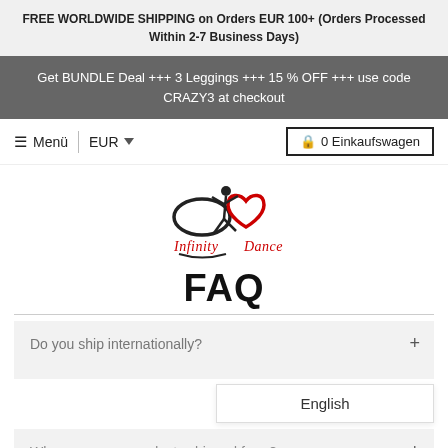FREE WORLDWIDE SHIPPING on Orders EUR 100+ (Orders Processed Within 2-7 Business Days)
Get BUNDLE Deal +++ 3 Leggings +++ 15 % OFF +++ use code CRAZY3 at checkout
≡ Menü | EUR ▼   🔒 0 Einkaufswagen
[Figure (logo): Infinity Dance logo with stylized dancer figure, infinity symbol, and heart in red and black, with cursive text reading Infinity Dance]
FAQ
Do you ship internationally?
English
Where are your products shipped from?